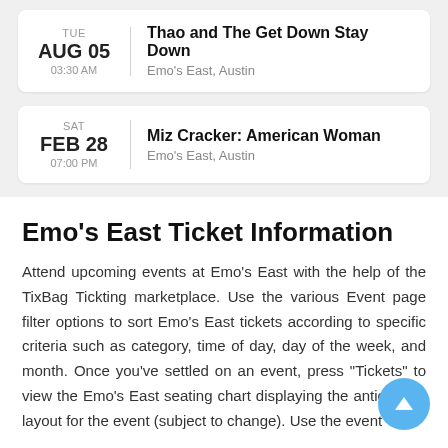TUE AUG 05 03:30 AM — Thao and The Get Down Stay Down — Emo's East, Austin
SAT FEB 28 07:00 PM — Miz Cracker: American Woman — Emo's East, Austin
Emo's East Ticket Information
Attend upcoming events at Emo's East with the help of the TixBag Tickting marketplace. Use the various Event page filter options to sort Emo's East tickets according to specific criteria such as category, time of day, day of the week, and month. Once you've settled on an event, press "Tickets" to view the Emo's East seating chart displaying the anticipated layout for the event (subject to change). Use the event